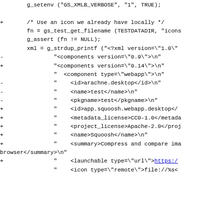Code diff showing changes to XML components version and component fields including id, name, pkgname, metadata_license, project_license, summary, launchable, and icon entries.